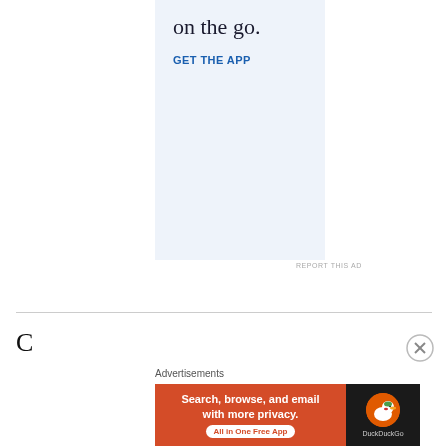[Figure (screenshot): Advertisement banner with light blue background showing text 'on the go.' in large serif font and 'GET THE APP' in blue bold sans-serif font]
REPORT THIS AD
Advertisements
[Figure (screenshot): DuckDuckGo advertisement banner: orange/red background with text 'Search, browse, and email with more privacy. All in One Free App' with DuckDuckGo logo on dark right panel]